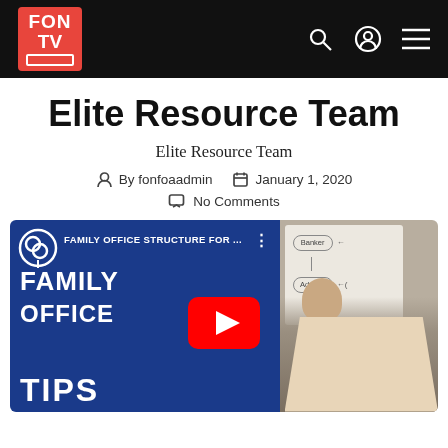FON TV
Elite Resource Team
Elite Resource Team
By fonfoaadmin  January 1, 2020
No Comments
[Figure (screenshot): YouTube video thumbnail showing 'Family Office Tips' with blue background text and a man at a whiteboard. Title reads 'FAMILY OFFICE STRUCTURE FOR...']